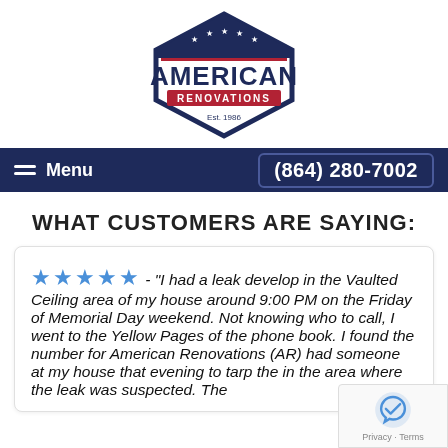[Figure (logo): American Renovations logo — diamond/hexagon shape with US flag stripes and stars at top, dark navy blue outline, text 'AMERICAN' in large bold letters, 'RENOVATIONS' below in red banner, 'Est. 1986' at bottom]
Menu   (864) 280-7002
WHAT CUSTOMERS ARE SAYING:
★★★★★ - "I had a leak develop in the Vaulted Ceiling area of my house around 9:00 PM on the Friday of Memorial Day weekend. Not knowing who to call, I went to the Yellow Pages of the phone book. I found the number for American Renovations (AR) had someone at my house that evening to tarp the in the area where the leak was suspected. The